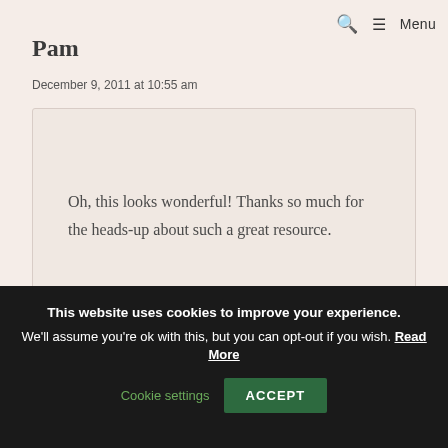Menu
Pam
December 9, 2011 at 10:55 am
Oh, this looks wonderful! Thanks so much for the heads-up about such a great resource.
This website uses cookies to improve your experience. We'll assume you're ok with this, but you can opt-out if you wish. Read More Cookie settings ACCEPT